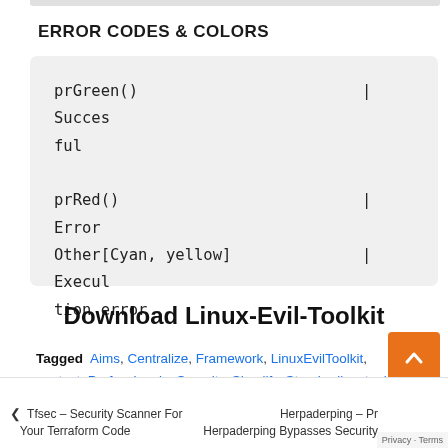ERROR CODES & COLORS
prGreen()    | Successful
prRed()      | Error
Other[Cyan, yellow]    | Execution error
Download Linux-Evil-Toolkit
Tagged  Aims, Centralize, Framework, LinuxEvilToolkit, pentest, Professionals, Security, Simplify, Standardize, tools
< Tfsec – Security Scanner For Your Terraform Code    Herpaderping – Pr... Herpaderping Bypasses Security